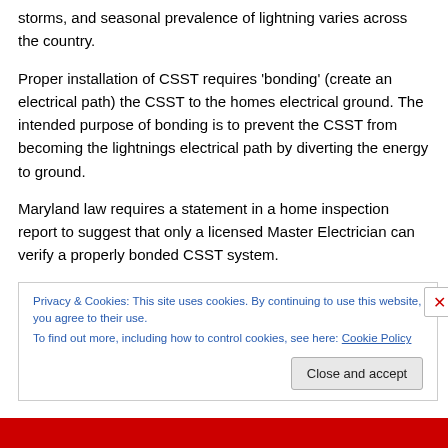storms, and seasonal prevalence of lightning varies across the country.
Proper installation of CSST requires 'bonding' (create an electrical path) the CSST to the homes electrical ground. The intended purpose of bonding is to prevent the CSST from becoming the lightnings electrical path by diverting the energy to ground.
Maryland law requires a statement in a home inspection report to suggest that only a licensed Master Electrician can verify a properly bonded CSST system.
Privacy & Cookies: This site uses cookies. By continuing to use this website, you agree to their use.
To find out more, including how to control cookies, see here: Cookie Policy